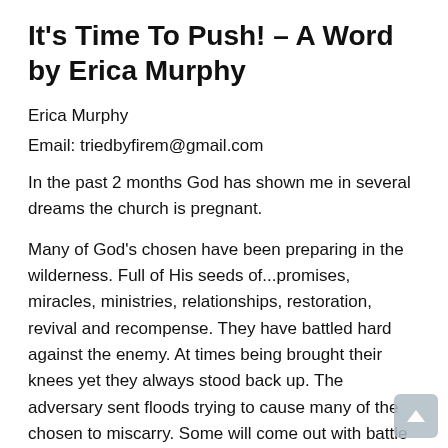It's Time To Push! – A Word by Erica Murphy
Erica Murphy
Email: triedbyfirem@gmail.com
In the past 2 months God has shown me in several dreams the church is pregnant.
Many of God's chosen have been preparing in the wilderness. Full of His seeds of...promises, miracles, ministries, relationships, restoration, revival and recompense. They have battled hard against the enemy. At times being brought their knees yet they always stood back up. The adversary sent floods trying to cause many of the chosen to miscarry. Some will come out with battle wounds unknowing those scars make them stronger. These ones have stayed in the secret place with The Father while it seemed everyone else was passing